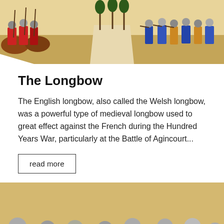[Figure (illustration): Medieval illuminated manuscript illustration showing soldiers/archers in colorful armor and tunics, partial view at top of page]
The Longbow
The English longbow, also called the Welsh longbow, was a powerful type of medieval longbow used to great effect against the French during the Hundred Years War, particularly at the Battle of Agincourt...
read more
[Figure (illustration): Medieval illuminated manuscript illustration showing armored knights in close combat with swords and shields]
[Figure (illustration): Faded/partial medieval illustration at bottom of page]